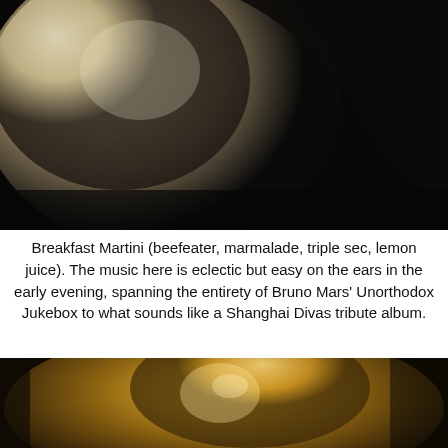[Figure (photo): Close-up blurred photo of what appears to be a cocktail glass or drink, with beige/cream tones against a dark black background]
Breakfast Martini (beefeater, marmalade, triple sec, lemon juice). The music here is eclectic but easy on the ears in the early evening, spanning the entirety of Bruno Mars' Unorthodox Jukebox to what sounds like a Shanghai Divas tribute album.
[Figure (photo): Close-up blurred photo of a cocktail glass with golden/amber liquid being poured, warm glowing tones]